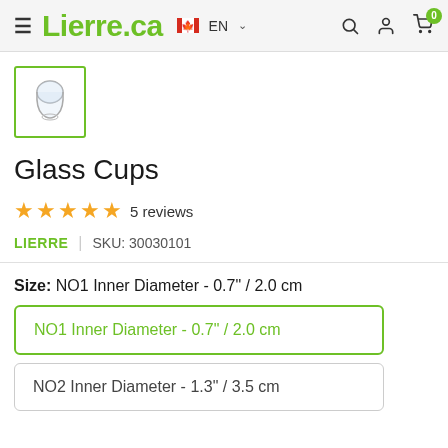Lierre.ca EN
[Figure (photo): Small glass cupping cup product thumbnail image in a green-bordered square]
Glass Cups
★★★★★ 5 reviews
LIERRE | SKU: 30030101
Size: NO1 Inner Diameter - 0.7" / 2.0 cm
NO1 Inner Diameter - 0.7" / 2.0 cm
NO2 Inner Diameter - 1.3" / 3.5 cm